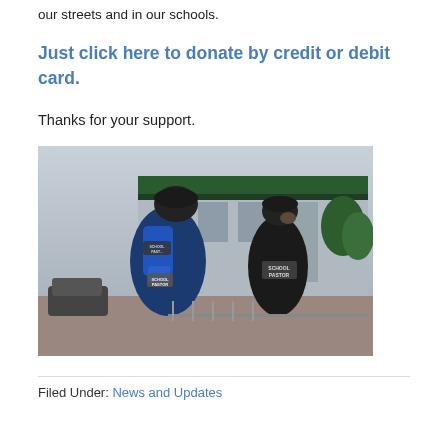our streets and in our schools.
Just click here to donate by credit or debit card.
Thanks for your support.
[Figure (photo): Two people wearing dark jackets and blue gear with 'SCHOOL PASTOR' labels on the back, standing outside a school building.]
Filed Under: News and Updates